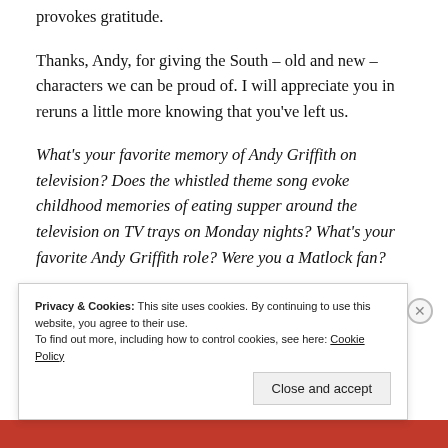provokes gratitude.
Thanks, Andy, for giving the South – old and new – characters we can be proud of. I will appreciate you in reruns a little more knowing that you've left us.
What's your favorite memory of Andy Griffith on television? Does the whistled theme song evoke childhood memories of eating supper around the television on TV trays on Monday nights? What's your favorite Andy Griffith role? Were you a Matlock fan?
Privacy & Cookies: This site uses cookies. By continuing to use this website, you agree to their use. To find out more, including how to control cookies, see here: Cookie Policy